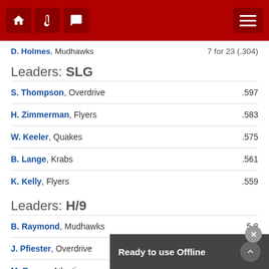Navigation bar with home, thermometer, and chat icons, and hamburger menu
D. Holmes, Mudhawks  7 for 23 (.304)
Leaders: SLG
S. Thompson, Overdrive  .597
H. Zimmerman, Flyers  .583
W. Keeler, Quakes  .575
B. Lange, Krabs  .561
K. Kelly, Flyers  .559
Leaders: H/9
B. Raymond, Mudhawks  5.8
J. Pfiester, Overdrive  6.7
M. Brown, Atlantics
D. Taylor, Quakes  7.1